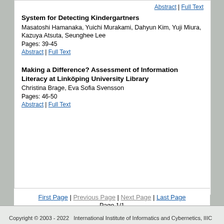Abstract | Full Text
System for Detecting Kindergartners
Masatoshi Hamanaka, Yuichi Murakami, Dahyun Kim, Yuji Miura, Kazuya Atsuta, Seunghee Lee
Pages: 39-45
Abstract | Full Text
Making a Difference? Assessment of Information Literacy at Linköping University Library
Christina Brage, Eva Sofia Svensson
Pages: 46-50
Abstract | Full Text
First Page | Previous Page | Next Page | Last Page
Page 1/1
Copyright © 2003 - 2022   International Institute of Informatics and Cybernetics, IIIC